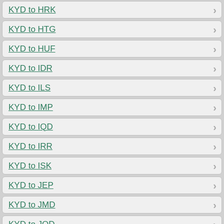KYD to HRK
KYD to HTG
KYD to HUF
KYD to IDR
KYD to ILS
KYD to IMP
KYD to IQD
KYD to IRR
KYD to ISK
KYD to JEP
KYD to JMD
KYD to JOD